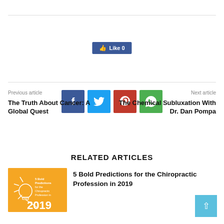[Figure (other): Facebook Like button showing Like 0]
[Figure (other): Social share buttons: Facebook, Twitter, Pinterest, WhatsApp]
Previous article
The Truth About Cancer: A Global Quest
Next article
The Chemical Subluxation With Dr. Dan Pompa
RELATED ARTICLES
[Figure (other): Orange image for 5 Bold Predictions for the Chiropractic Profession in 2019 with light bulb and year 2019]
5 Bold Predictions for the Chiropractic Profession in 2019